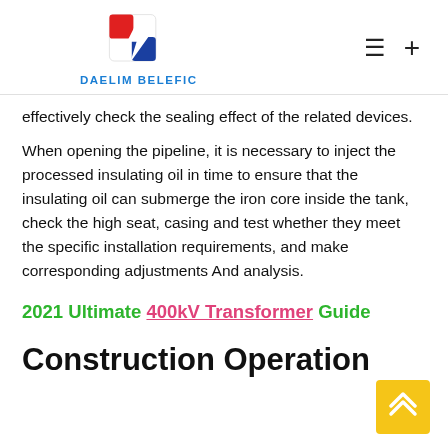DAELIM BELEFIC
effectively check the sealing effect of the related devices.
When opening the pipeline, it is necessary to inject the processed insulating oil in time to ensure that the insulating oil can submerge the iron core inside the tank, check the high seat, casing and test whether they meet the specific installation requirements, and make corresponding adjustments And analysis.
2021 Ultimate 400kV Transformer Guide
Construction Operation